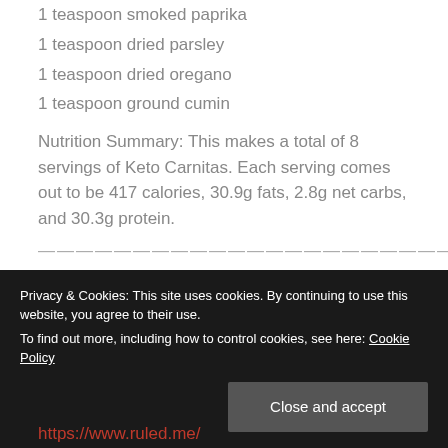1 teaspoon smoked paprika
1 teaspoon dried parsley
1 teaspoon dried oregano
1 teaspoon ground cumin
Nutrition Summary: This makes a total of 8 servings of Keto Carnitas. Each serving comes out to be 417 calories, 30.9g fats, 2.8g net carbs, and 30.3g protein.
——————————————————————
Privacy & Cookies: This site uses cookies. By continuing to use this website, you agree to their use.
To find out more, including how to control cookies, see here: Cookie Policy
Close and accept
https://www.ruled.me/